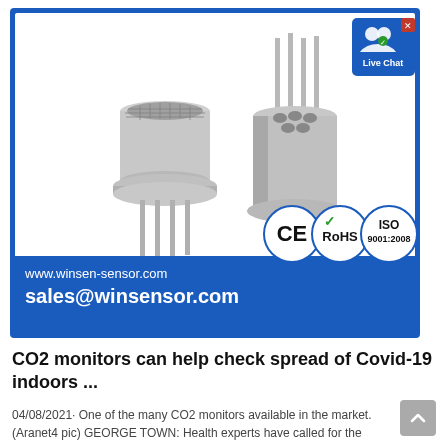[Figure (photo): Advertisement for Winsen sensor products showing two metal CO2 sensor components (TO-style can packages with pins), CE, RoHS, and ISO 9001:2008 certification badges, website www.winsen-sensor.com and email sales@winsensor.com on blue background, with a Live Chat button in the top-right corner.]
CO2 monitors can help check spread of Covid-19 indoors ...
04/08/2021· One of the many CO2 monitors available in the market. (Aranet4 pic) GEORGE TOWN: Health experts have called for the